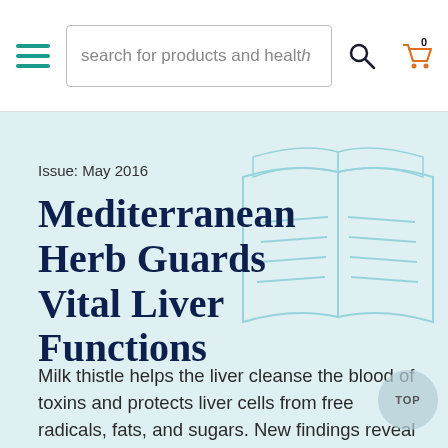search for products and health
Issue: May 2016
Mediterranean Herb Guards Vital Liver Functions
Milk thistle helps the liver cleanse the blood of toxins and protects liver cells from free radicals, fats, and sugars. New findings reveal how milk thistle extract combats metabolic syndrome and may protect